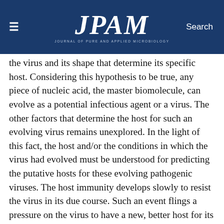JPAM
the virus and its shape that determine its specific host. Considering this hypothesis to be true, any piece of nucleic acid, the master biomolecule, can evolve as a potential infectious agent or a virus. The other factors that determine the host for such an evolving virus remains unexplored. In the light of this fact, the host and/or the conditions in which the virus had evolved must be understood for predicting the putative hosts for these evolving pathogenic viruses. The host immunity develops slowly to resist the virus in its due course. Such an event flings a pressure on the virus to have a new, better host for its survival and it happens to be newly emerging virus like SARS-CoV-2 with a new host and its pathogenicity leading to a pandemic.